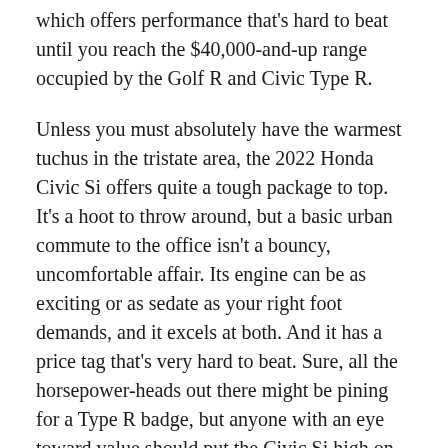which offers performance that's hard to beat until you reach the $40,000-and-up range occupied by the Golf R and Civic Type R.
Unless you must absolutely have the warmest tuchus in the tristate area, the 2022 Honda Civic Si offers quite a tough package to top. It's a hoot to throw around, but a basic urban commute to the office isn't a bouncy, uncomfortable affair. Its engine can be as exciting or as sedate as your right foot demands, and it excels at both. And it has a price tag that's very hard to beat. Sure, all the horsepower-heads out there might be pining for a Type R badge, but anyone with an eye toward value should put the Civic Si high on their list.